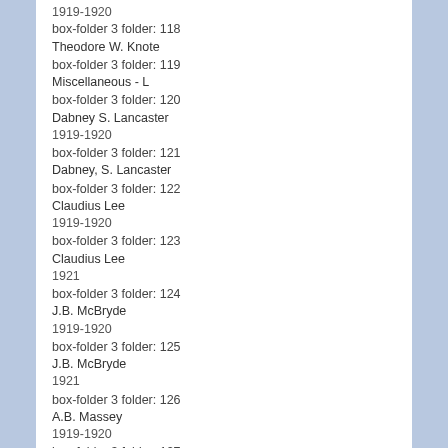1919-1920
box-folder 3 folder: 118
Theodore W. Knote
box-folder 3 folder: 119
Miscellaneous - L
box-folder 3 folder: 120
Dabney S. Lancaster
1919-1920
box-folder 3 folder: 121
Dabney, S. Lancaster
box-folder 3 folder: 122
Claudius Lee
1919-1920
box-folder 3 folder: 123
Claudius Lee
1921
box-folder 3 folder: 124
J.B. McBryde
1919-1920
box-folder 3 folder: 125
J.B. McBryde
1921
box-folder 3 folder: 126
A.B. Massey
1919-1920
box-folder 3 folder: 127
A.B. Massey
1921
box-folder 3 folder: 128